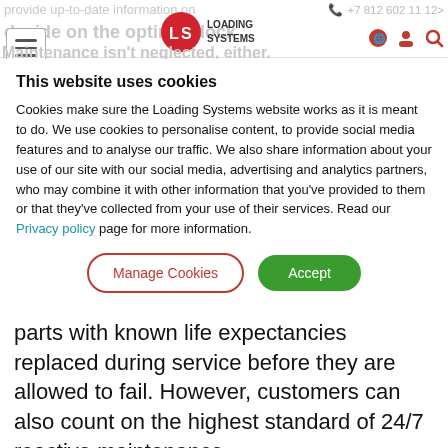LS Loading Systems | +7 812 602 11 12
Maintenance isn't neglected, either.
This website uses cookies
Cookies make sure the Loading Systems website works as it is meant to do. We use cookies to personalise content, to provide social media features and to analyse our traffic. We also share information about your use of our site with our social media, advertising and analytics partners, who may combine it with other information that you've provided to them or that they've collected from your use of their services. Read our Privacy policy page for more information.
parts with known life expectancies replaced during service before they are allowed to fail. However, customers can also count on the highest standard of 24/7 reactive maintenance